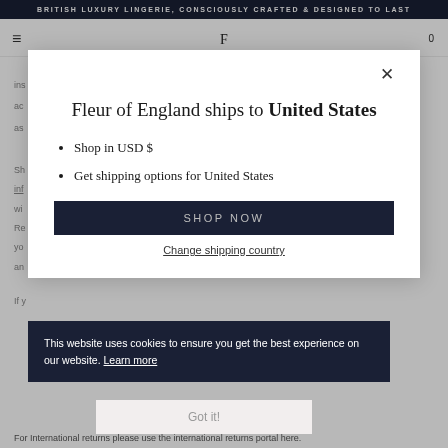BRITISH LUXURY LINGERIE, CONSCIOUSLY CRAFTED & DESIGNED TO LAST
[Figure (screenshot): Website navigation bar with hamburger menu, F logo, and cart icon showing 0]
ins... r ac... on as... .
[Figure (screenshot): Modal dialog: 'Fleur of England ships to United States' with bullet points 'Shop in USD $' and 'Get shipping options for United States', a 'Shop now' button, and 'Change shipping country' link]
[Figure (screenshot): Cookie consent banner: 'This website uses cookies to ensure you get the best experience on our website. Learn more' with 'Got it!' button]
For International returns please use the international returns portal here.